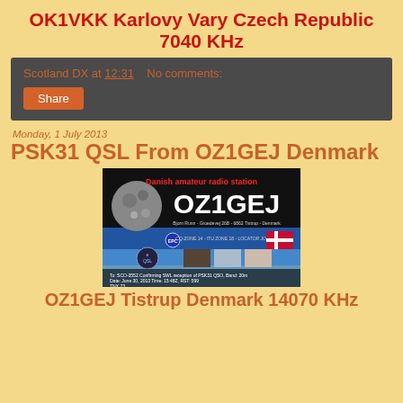OK1VKK Karlovy Vary Czech Republic 7040 KHz
Scotland DX at 12:31   No comments:
Share
Monday, 1 July 2013
PSK31 QSL From OZ1GEJ Denmark
[Figure (photo): QSL card from OZ1GEJ Danish amateur radio station showing moon image, callsign OZ1GEJ, Danish flag, eQSL logo, and confirmation text for PSK31 QSO on 20m band, June 30, 2013.]
OZ1GEJ Tistrup Denmark 14070 KHz